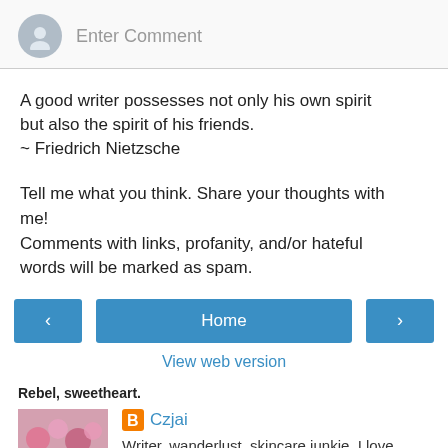[Figure (screenshot): Comment input bar with user avatar placeholder and 'Enter Comment' placeholder text]
A good writer possesses not only his own spirit but also the spirit of his friends.
~ Friedrich Nietzsche
Tell me what you think. Share your thoughts with me!
Comments with links, profanity, and/or hateful words will be marked as spam.
[Figure (screenshot): Navigation buttons: left arrow, Home, right arrow]
View web version
Rebel, sweetheart.
[Figure (photo): Pink flower/blossom photo]
Czjai
Writer, wanderlust, skincare junkie. I love coffee,